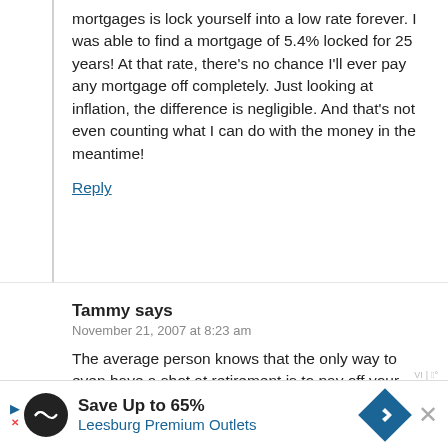mortgages is lock yourself into a low rate forever. I was able to find a mortgage of 5.4% locked for 25 years! At that rate, there's no chance I'll ever pay any mortgage off completely. Just looking at inflation, the difference is negligible. And that's not even counting what I can do with the money in the meantime!
Reply
Tammy says
November 21, 2007 at 8:23 am
The average person knows that the only way to even have a shot at retirement is to pay off your house.
My house is now paid off and yeah, I'd much
Save Up to 65% Leesburg Premium Outlets